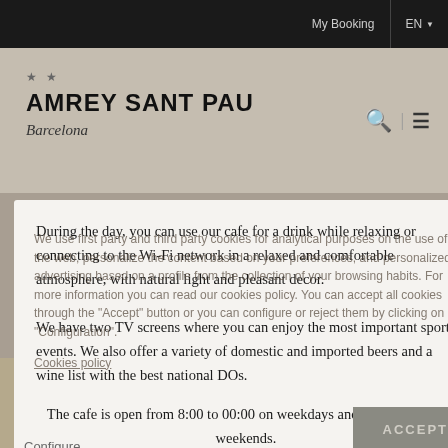My Booking  EN
AMREY SANT PAU
Barcelona
During the day, you can use our cafe for a drink while relaxing or connecting to the Wi-Fi network in a relaxed and comfortable atmosphere, with natural light and pleasant decor.
We have two TV screens where you can enjoy the most important sport events. We also offer a variety of domestic and imported beers and a wine list with the best national DOs.
The cafe is open from 8:00 to 00:00 on weekdays and from 10:30 on weekends.
We use first party and third party cookies for analytical purposes on the use of the web, personalize the content based on your preferences, and personalized advertising based on a profile from the collection of your browsing habits. For more information you can read our cookies policy. You can accept all cookies through the "Accept" button or you can configure or reject them by clicking on "Configuration". Cookies policy
In our menu you can find everything: from salads, pastas or
BOOK NOW